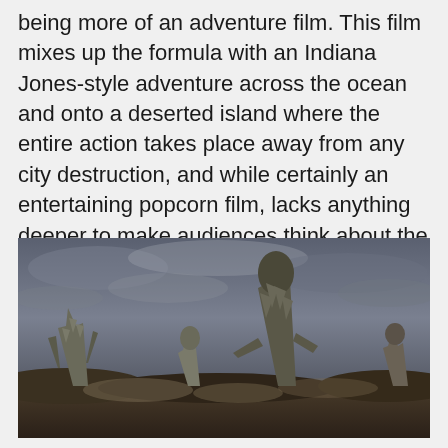being more of an adventure film. This film mixes up the formula with an Indiana Jones-style adventure across the ocean and onto a deserted island where the entire action takes place away from any city destruction, and while certainly an entertaining popcorn film, lacks anything deeper to make audiences think about the film beyond the initial viewing.
[Figure (photo): A dark, dramatic film still showing several large monster/kaiju figures (resembling Godzilla and other creatures) standing on a desolate landscape under a cloudy, overcast sky.]